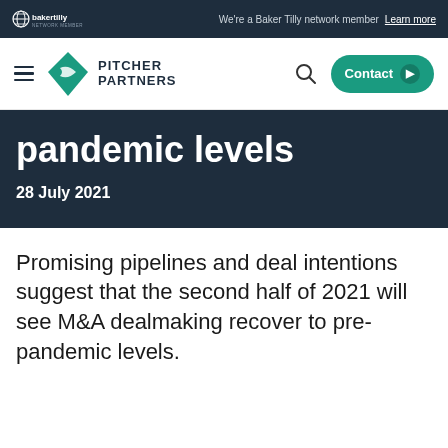Baker Tilly network member | We're a Baker Tilly network member Learn more
[Figure (logo): Pitcher Partners logo with diamond graphic and wordmark, navigation bar with hamburger menu, search icon, and Contact button]
pandemic levels
28 July 2021
Promising pipelines and deal intentions suggest that the second half of 2021 will see M&A dealmaking recover to pre-pandemic levels.